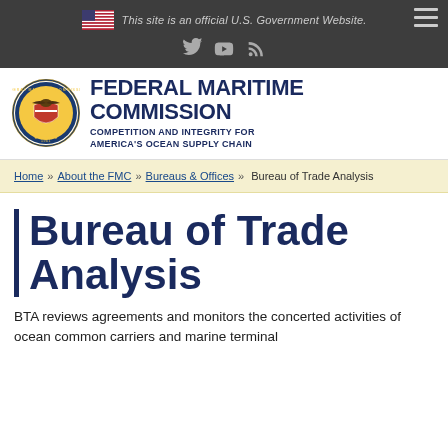This site is an official U.S. Government Website.
[Figure (logo): Federal Maritime Commission seal/logo with eagle and shield]
FEDERAL MARITIME COMMISSION
COMPETITION AND INTEGRITY FOR AMERICA'S OCEAN SUPPLY CHAIN
Home » About the FMC » Bureaus & Offices » Bureau of Trade Analysis
Bureau of Trade Analysis
BTA reviews agreements and monitors the concerted activities of ocean common carriers and marine terminal